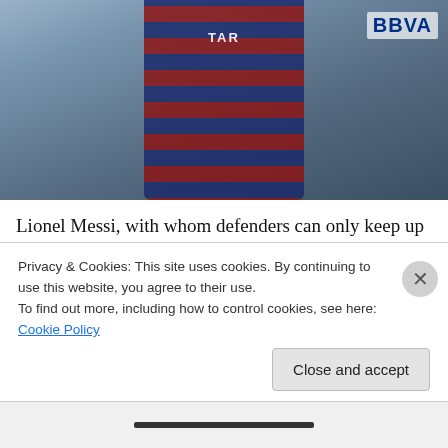[Figure (photo): Lionel Messi in FC Barcelona striped jersey (dark blue and red) running on a football pitch, with another player in a white jersey with BBVA sponsor visible in the background.]
Lionel Messi, with whom defenders can only keep up with their eyes, was loaded with so much talent, but clubs in Argentina were unwilling to give him the costly growth hormone he needed.
At 9, he would put 100s of touches on the ball to elude the best kid defenders. At 11, he was diagnosed with growth hormone deficiency. His club, Newell's Old Boys in
Privacy & Cookies: This site uses cookies. By continuing to use this website, you agree to their use.
To find out more, including how to control cookies, see here: Cookie Policy
Close and accept